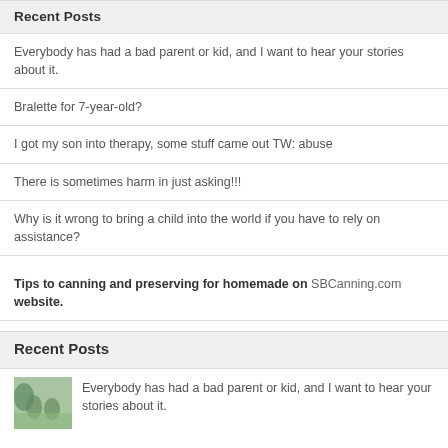Recent Posts
Everybody has had a bad parent or kid, and I want to hear your stories about it.
Bralette for 7-year-old?
I got my son into therapy, some stuff came out TW: abuse
There is sometimes harm in just asking!!!
Why is it wrong to bring a child into the world if you have to rely on assistance?
Tips to canning and preserving for homemade on SBCanning.com website.
Recent Posts
Everybody has had a bad parent or kid, and I want to hear your stories about it.